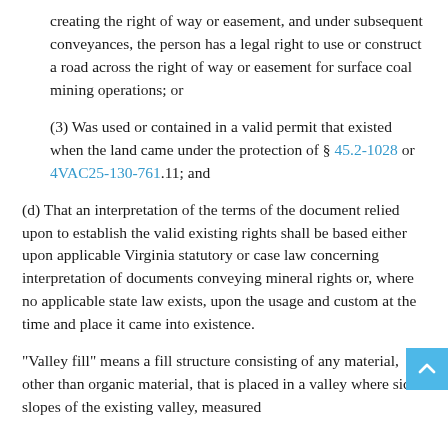creating the right of way or easement, and under subsequent conveyances, the person has a legal right to use or construct a road across the right of way or easement for surface coal mining operations; or
(3) Was used or contained in a valid permit that existed when the land came under the protection of § 45.2-1028 or 4VAC25-130-761.11; and
(d) That an interpretation of the terms of the document relied upon to establish the valid existing rights shall be based either upon applicable Virginia statutory or case law concerning interpretation of documents conveying mineral rights or, where no applicable state law exists, upon the usage and custom at the time and place it came into existence.
"Valley fill" means a fill structure consisting of any material, other than organic material, that is placed in a valley where side slopes of the existing valley, measured